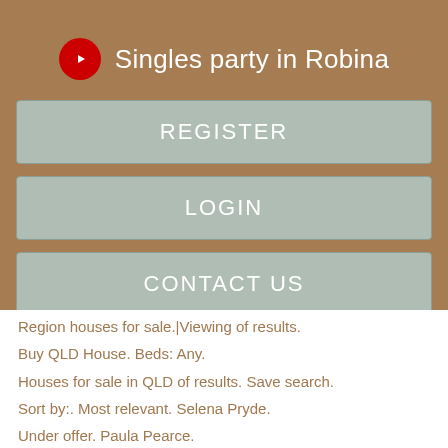Singles party in Robina
REGISTER
LOGIN
CONTACT US
Region houses for sale.|Viewing of results.
Buy QLD House. Beds: Any.
Houses for sale in QLD of results. Save search.
Sort by:. Most relevant. Selena Pryde.
Under offer. Paula Pearce.
Open tomorrow Open tomorrow am. Ben Wakely.]He became